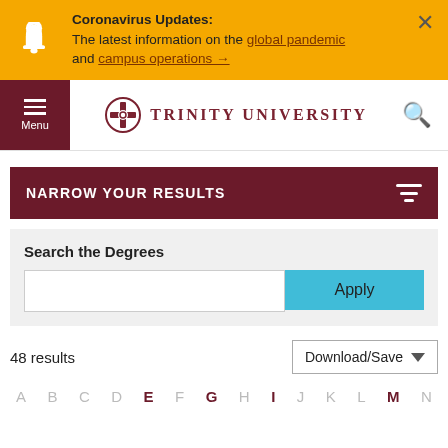Coronavirus Updates: The latest information on the global pandemic and campus operations →
[Figure (logo): Trinity University logo with bell icon and navigation menu]
NARROW YOUR RESULTS
Search the Degrees
Apply
48 results
Download/Save
A B C D E F G H I J K L M N